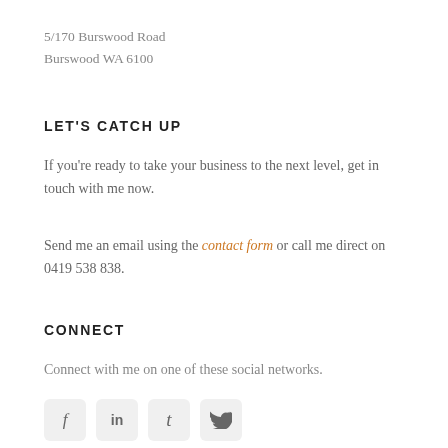5/170 Burswood Road
Burswood WA 6100
LET'S CATCH UP
If you're ready to take your business to the next level, get in touch with me now.
Send me an email using the contact form or call me direct on 0419 538 838.
CONNECT
Connect with me on one of these social networks.
[Figure (other): Four social media icon buttons: Facebook (f), LinkedIn (in), Tumblr (t), Twitter (bird icon)]